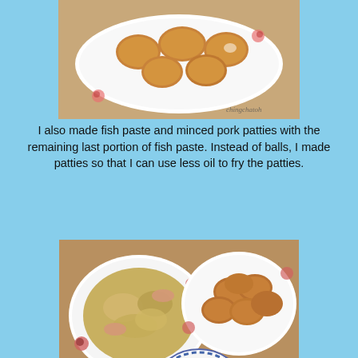[Figure (photo): Plate of fried breaded fish/pork patties on a white floral plate, viewed from above on a wooden surface. Watermark: chingchatoh]
I also made fish paste and minced pork patties with the remaining last portion of fish paste. Instead of balls, I made patties so that I can use less oil to fry the patties.
[Figure (photo): Top-down view of two white floral plates: left with braised/stewed dish, right with fried fish-pork patties; two dipping sauce bowls (dark soy sauce and chili sauce). Watermark: chingchatoh]
After hubby returned from sending the food over to the friend, we got ready for dinner.
[Figure (photo): Partial view of a blue and white plate, bottom of page, cropped.]